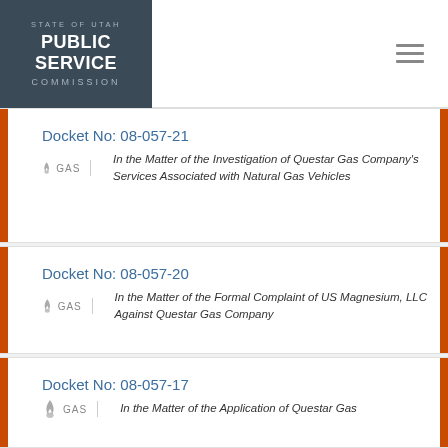STATE OF UTAH PUBLIC SERVICE COMMISSION
Docket No: 08-057-21
GAS | In the Matter of the Investigation of Questar Gas Company’s Services Associated with Natural Gas Vehicles
Docket No: 08-057-20
GAS | In the Matter of the Formal Complaint of US Magnesium, LLC Against Questar Gas Company
Docket No: 08-057-17
GAS | In the Matter of the Application of Questar Gas